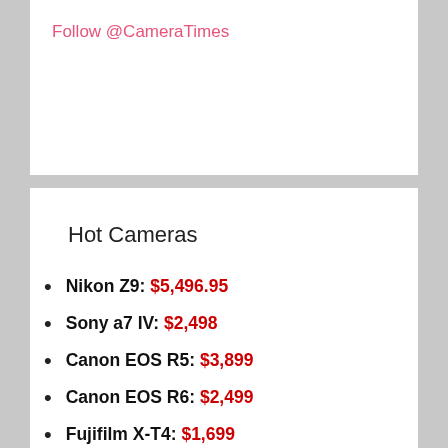Follow @CameraTimes
Hot Cameras
Nikon Z9: $5,496.95
Sony a7 IV: $2,498
Canon EOS R5: $3,899
Canon EOS R6: $2,499
Fujifilm X-T4: $1,699
Panasonic S5: $1,998
Sony a7C: $1,798
Sony a7S III: $3,499
Sony ZV-1: $748
Sony a7R IV: $3,498